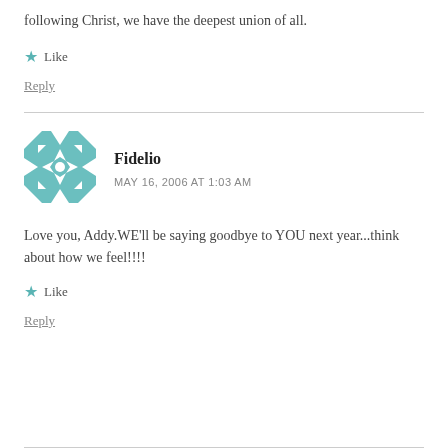following Christ, we have the deepest union of all.
★ Like
Reply
[Figure (illustration): Teal and white geometric quilt-pattern avatar for user Fidelio]
Fidelio
MAY 16, 2006 AT 1:03 AM
Love you, Addy.WE'll be saying goodbye to YOU next year...think about how we feel!!!!
★ Like
Reply